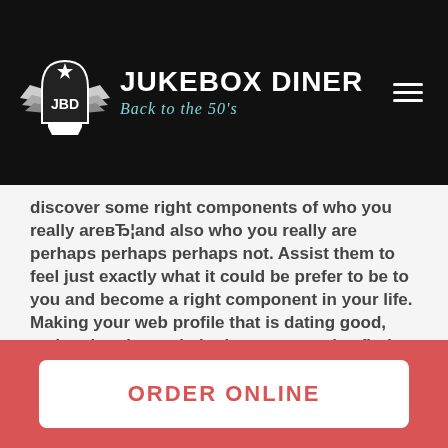[Figure (logo): Jukebox Diner logo with shield badge showing JBD initials with wings, white on black background. Brand name 'Jukebox Diner' in bold white uppercase letters, tagline 'Back to the 50's' in teal italic script. Hamburger menu icon on the right.]
discover some right components of who you really areвЂ¦and also who you really are perhaps perhaps perhaps not. Assist them to feel just exactly what it could be prefer to be to you and become a right component in your life.
Making your web profile that is dating good, and authentic can help the proper males find their method to your inbox which help the not-so-right guys self-select down
ORDER ONLINE